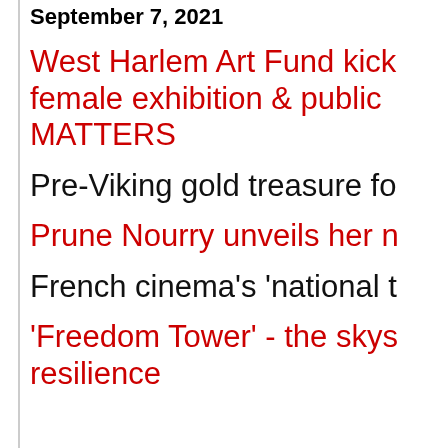September 7, 2021
West Harlem Art Fund kick... female exhibition & public ... MATTERS
Pre-Viking gold treasure fo...
Prune Nourry unveils her n...
French cinema's 'national t...
'Freedom Tower' - the skys... resilience